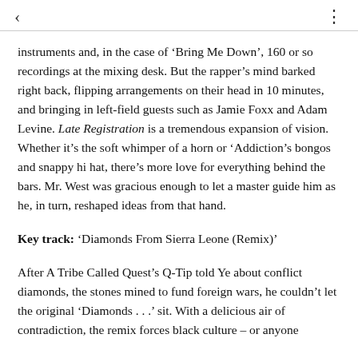< ⋮
instruments and, in the case of 'Bring Me Down', 160 or so recordings at the mixing desk. But the rapper's mind barked right back, flipping arrangements on their head in 10 minutes, and bringing in left-field guests such as Jamie Foxx and Adam Levine. Late Registration is a tremendous expansion of vision. Whether it's the soft whimper of a horn or 'Addiction's bongos and snappy hi hat, there's more love for everything behind the bars. Mr. West was gracious enough to let a master guide him as he, in turn, reshaped ideas from that hand.
Key track: 'Diamonds From Sierra Leone (Remix)'
After A Tribe Called Quest's Q-Tip told Ye about conflict diamonds, the stones mined to fund foreign wars, he couldn't let the original 'Diamonds . . .' sit. With a delicious air of contradiction, the remix forces black culture – or anyone